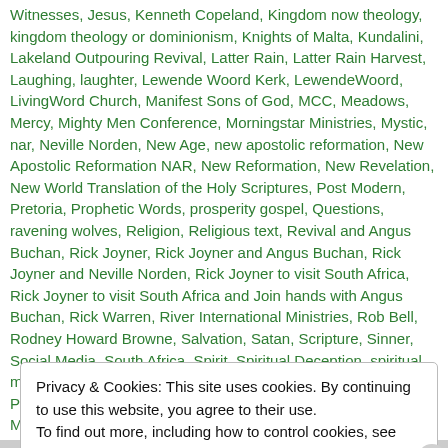Witnesses, Jesus, Kenneth Copeland, Kingdom now theology, kingdom theology or dominionism, Knights of Malta, Kundalini, Lakeland Outpouring Revival, Latter Rain, Latter Rain Harvest, Laughing, laughter, Lewende Woord Kerk, LewendeWoord, LivingWord Church, Manifest Sons of God, MCC, Meadows, Mercy, Mighty Men Conference, Morningstar Ministries, Mystic, nar, Neville Norden, New Age, new apostolic reformation, New Apostolic Reformation NAR, New Reformation, New Revelation, New World Translation of the Holy Scriptures, Post Modern, Pretoria, Prophetic Words, prosperity gospel, Questions, ravening wolves, Religion, Religious text, Revival and Angus Buchan, Rick Joyner, Rick Joyner and Angus Buchan, Rick Joyner and Neville Norden, Rick Joyner to visit South Africa, Rick Joyner to visit South Africa and Join hands with Angus Buchan, Rick Warren, River International Ministries, Rob Bell, Rodney Howard Browne, Salvation, Satan, Scripture, Sinner, Social Media, South Africa, Spirit, Spiritual Deception, spiritual manipulation, Stairway Ministries, T E Mbedzi, The Apostolic Prophetic Conference South Africa 2012, The Dominion Mandate, The Love of The Truth, The New Apostolic Reformation, The Passion Translation, The will of God, Theology, Todd Bentley, Video clips, Voice, War, Warnings, Waves, WOF, Word of Faith, Word of Faith Movement, Wrath, Yoga | 0 Comments
Privacy & Cookies: This site uses cookies. By continuing to use this website, you agree to their use. To find out more, including how to control cookies, see here: Cookie Policy